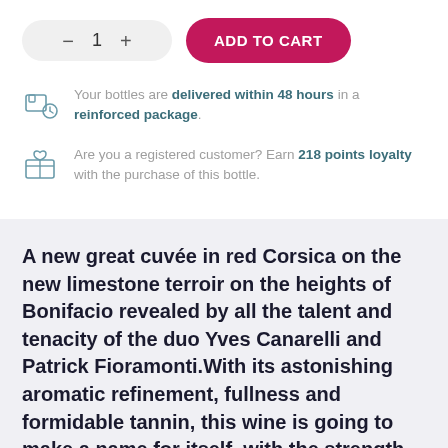[Figure (screenshot): Quantity selector with minus button, number 1, and plus button in a pill-shaped gray control, next to a pink/magenta ADD TO CART button]
Your bottles are delivered within 48 hours in a reinforced package.
Are you a registered customer? Earn 218 points loyalty with the purchase of this bottle.
A new great cuvée in red Corsica on the new limestone terroir on the heights of Bonifacio revealed by all the talent and tenacity of the duo Yves Canarelli and Patrick Fioramonti.With its astonishing aromatic refinement, fullness and formidable tannin, this wine is going to make a name for itself, with the strength of the…